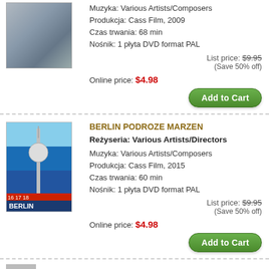[Figure (photo): DVD cover image - aerial/city view, partial visible at top]
Muzyka: Various Artists/Composers
Produkcja: Cass Film, 2009
Czas trwania: 68 min
Nośnik: 1 płyta DVD format PAL
List price: $9.95
(Save 50% off)
Online price: $4.98
Add to Cart
BERLIN PODROZE MARZEN
Reżyseria: Various Artists/Directors
[Figure (photo): DVD cover for Berlin Podroze Marzen - Berlin TV tower and city landmark]
Muzyka: Various Artists/Composers
Produkcja: Cass Film, 2015
Czas trwania: 60 min
Nośnik: 1 płyta DVD format PAL
List price: $9.95
(Save 50% off)
Online price: $4.98
Add to Cart